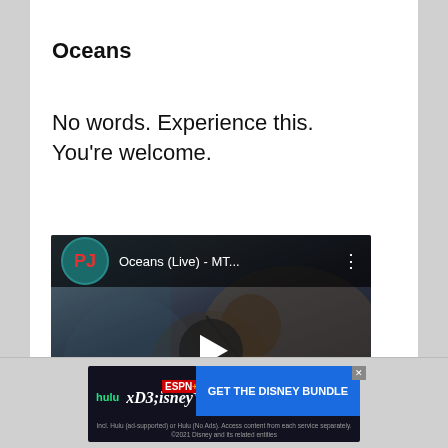Oceans
No words. Experience this. You're welcome.
[Figure (screenshot): YouTube video thumbnail for 'Oceans (Live) - MT...' by Pearl Jam, showing a performer with a microphone on stage, Pearl Jam logo visible, with a play button overlay and PJ channel icon in the top bar.]
Oceans (Live) - MTV Unplugged - Pearl
[Figure (infographic): Disney Bundle advertisement banner showing Hulu, Disney+, and ESPN+ logos with text 'GET THE DISNEY BUNDLE'. Footnote: Incl. Hulu (ad-supported) or Hulu (No Ads). Access content from each service separately. ©2021 Disney and its related entities]